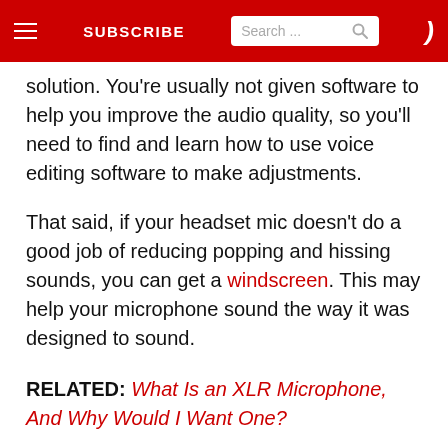☰  SUBSCRIBE  [Search...]  )
solution. You're usually not given software to help you improve the audio quality, so you'll need to find and learn how to use voice editing software to make adjustments.
That said, if your headset mic doesn't do a good job of reducing popping and hissing sounds, you can get a windscreen. This may help your microphone sound the way it was designed to sound.
RELATED: What Is an XLR Microphone, And Why Would I Want One?
Which Is Better?